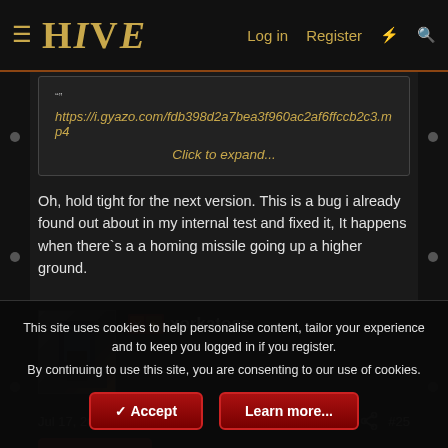HIVE — Log in  Register
https://i.gyazo.com/fdb398d2a7bea3f960ac2af6ffccb2c3.mp4
Click to expand...
Oh, hold tight for the next version. This is a bug i already found out about in my internal test and fixed it, It happens when there`s a a homing missile going up a higher ground.
xorkatoss
Jul 17, 2020  #25
This site uses cookies to help personalise content, tailor your experience and to keep you logged in if you register.
By continuing to use this site, you are consenting to our use of cookies.
Accept   Learn more...